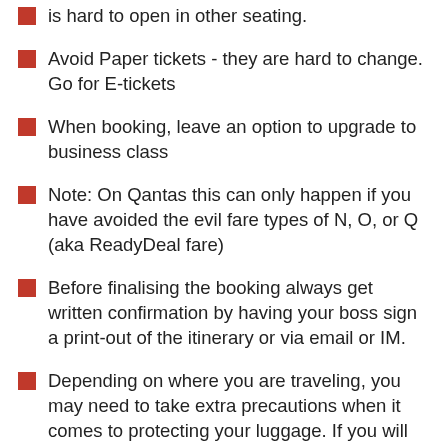is hard to open in other seating.
Avoid Paper tickets - they are hard to change. Go for E-tickets
When booking, leave an option to upgrade to business class
Note: On Qantas this can only happen if you have avoided the evil fare types of N, O, or Q (aka ReadyDeal fare)
Before finalising the booking always get written confirmation by having your boss sign a print-out of the itinerary or via email or IM.
Depending on where you are traveling, you may need to take extra precautions when it comes to protecting your luggage. If you will be visiting an unsafe airport or location, it might be worth upgrading to a more secure suitcase such as the type suggested in this YouTube video: “ Defeat Dishonest...